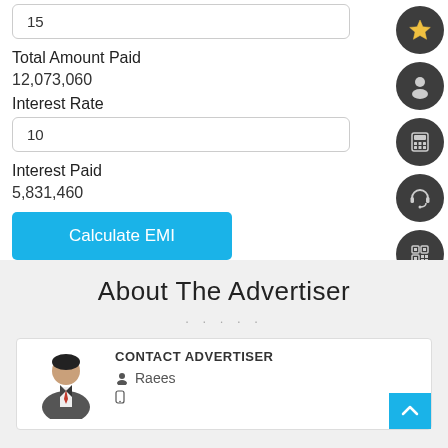15
Total Amount Paid
12,073,060
Interest Rate
10
Interest Paid
5,831,460
Calculate EMI
[Figure (screenshot): Right-side vertical icon bar with 5 dark circular icons: star, person, calculator, phone/headset, QR code]
About The Advertiser
CONTACT ADVERTISER
Raees
[Figure (illustration): Profile avatar of a businessman in suit with red tie]